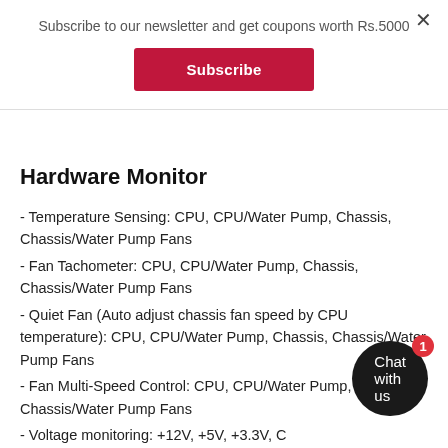Subscribe to our newsletter and get coupons worth Rs.5000
Subscribe
Hardware Monitor
- Temperature Sensing: CPU, CPU/Water Pump, Chassis, Chassis/Water Pump Fans
- Fan Tachometer: CPU, CPU/Water Pump, Chassis, Chassis/Water Pump Fans
- Quiet Fan (Auto adjust chassis fan speed by CPU temperature): CPU, CPU/Water Pump, Chassis, Chassis/Water Pump Fans
- Fan Multi-Speed Control: CPU, CPU/Water Pump, Chassis, Chassis/Water Pump Fans
- Voltage monitoring: +12V, +5V, +3.3V, VDDCR_SOC, DRAM, PREM VDDCR_SOC, +1.8V, VDDP